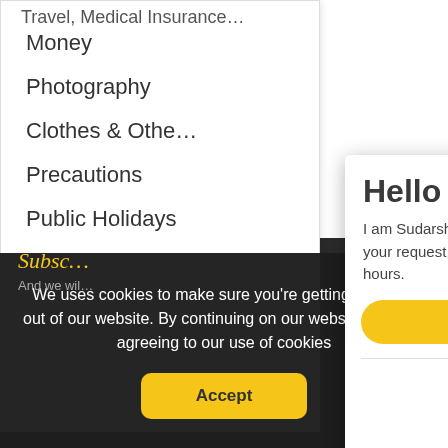Money
Photography
Clothes & Othe…
Precautions
Public Holidays
Hello
I am Sudarshan from "Exquisite Bhutan". Send us your request, and we will answer you within 48 hours.
Send a message
Call us at
Subsc…
And we wil…
We uses cookies to make sure you're getting the most out of our website. By continuing on our website, you are agreeing to our use of cookies
Accept